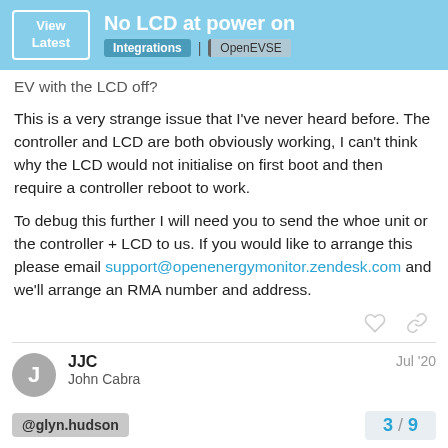No LCD at power on | Integrations | OpenEVSE
EV with the LCD off?
This is a very strange issue that I've never heard before. The controller and LCD are both obviously working, I can't think why the LCD would not initialise on first boot and then require a controller reboot to work.
To debug this further I will need you to send the whoe unit or the controller + LCD to us. If you would like to arrange this please email support@openenergymonitor.zendesk.com and we'll arrange an RMA number and address.
JJC
John Cabra
Jul '20
@glyn.hudson
3 / 9